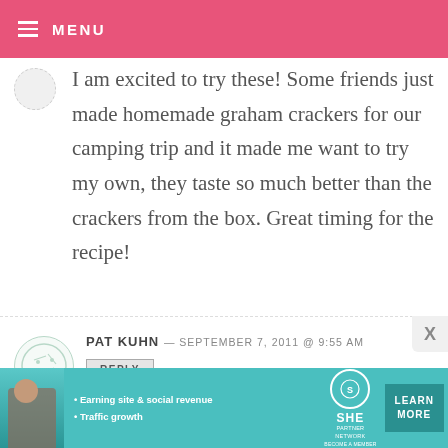MENU
I am excited to try these! Some friends just made homemade graham crackers for our camping trip and it made me want to try my own, they taste so much better than the crackers from the box. Great timing for the recipe!
PAT KUHN — SEPTEMBER 7, 2011 @ 9:55 AM
REPLY
[Figure (screenshot): Advertisement banner for SHE Partner Network featuring a woman, bullet points about Earning site & social revenue and Traffic growth, SHE logo, and a Learn More button.]